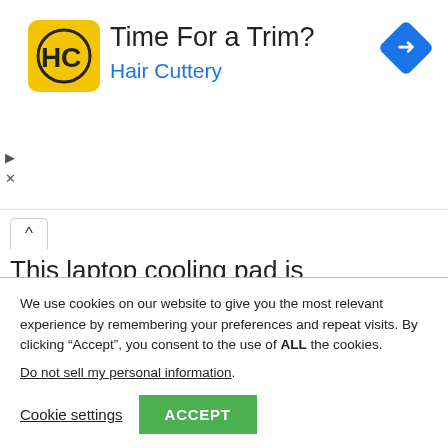[Figure (infographic): Advertisement banner for Hair Cuttery showing logo (yellow square with HC initials), headline 'Time For a Trim?', subtitle 'Hair Cuttery' in blue, and a blue diamond navigation arrow icon on the right. Small play and close icons on the left side.]
This laptop cooling pad is conveniently powered by the USB port on your computer, with no power adapter needed. It offers an additional USB port for you to connect to other devices. The product Has 2 cooling fans
We use cookies on our website to give you the most relevant experience by remembering your preferences and repeat visits. By clicking “Accept”, you consent to the use of ALL the cookies.
Do not sell my personal information.
Cookie settings  ACCEPT